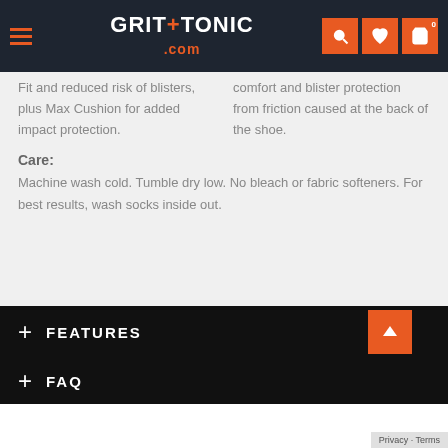GRIT+TONIC .com
Fit and reduced risk of blisters, plus Max Cushion for added impact protection.
comfort and blister protection from friction caused at the back of the shoe.
Care:
Machine wash cold. Tumble dry low. No bleach or fabric softeners. For best results, wash socks inside out.
+ FEATURES
+ FAQ